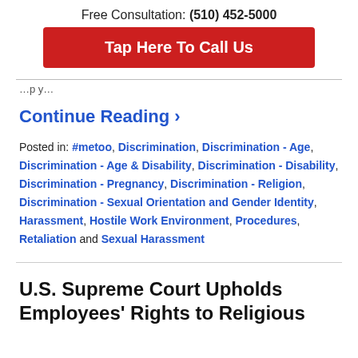Free Consultation: (510) 452-5000
Tap Here To Call Us
Continue Reading ›
Posted in: #metoo, Discrimination, Discrimination - Age, Discrimination - Age & Disability, Discrimination - Disability, Discrimination - Pregnancy, Discrimination - Religion, Discrimination - Sexual Orientation and Gender Identity, Harassment, Hostile Work Environment, Procedures, Retaliation and Sexual Harassment
U.S. Supreme Court Upholds Employees' Rights to Religious